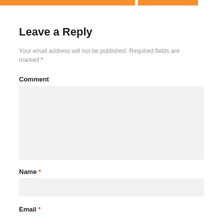[Figure (other): Two orange horizontal bars at the top of the page, separated by a small white gap]
Leave a Reply
Your email address will not be published. Required fields are marked *
Comment
[Figure (other): Large comment input text area with light grey background]
Name *
[Figure (other): Name input field with light grey background]
Email *